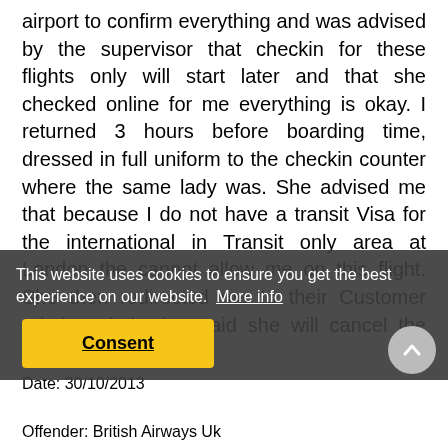airport to confirm everything and was advised by the supervisor that checkin for these flights only will start later and that she checked online for me everything is okay. I returned 3 hours before boarding time, dressed in full uniform to the checkin counter where the same lady was. She advised me that because I do not have a transit Visa for the international in Transit only area at London the cannot allow me on this flight. She then redirected me to their Customer relations lady that said she will cancel the ticket and refund me then she said that I should go to Air France and buy myself another ticket there which I did at 4 x the cost. I haven't heard One word from BA now in more than 2 months.
This website uses cookies to ensure you get the best experience on our website. More info
Consent
Author: Dawiebrits
Date: 30/10/2013
Offender: British Airways Uk